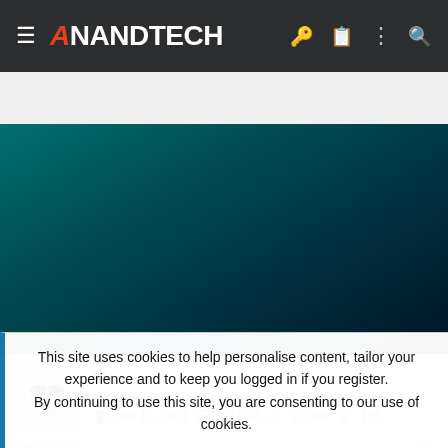AnandTech
[Figure (photo): Teal/dark green gradient banner background]
Vic
Elite Member
Jun 12, 2001  49,229  11,086  136
This site uses cookies to help personalise content, tailor your experience and to keep you logged in if you register. By continuing to use this site, you are consenting to our use of cookies.